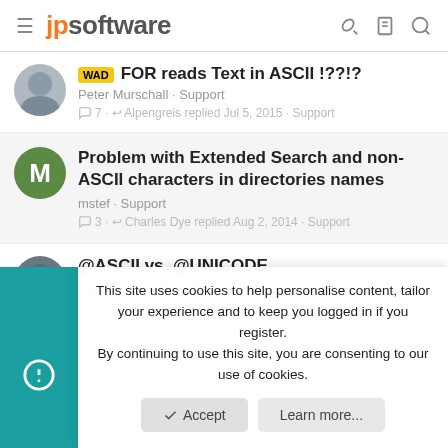jpsoftware
WAD FOR reads Text in ASCII !??!?
Peter Murschall · Support
7 · Alpengreis replied Jul 5, 2015 · Support
Problem with Extended Search and non-ASCII characters in directories names
mstef · Support
3 · Charles Dye replied Aug 2, 2014 · Support
@ASCII vs. @UNICODE
Charles Dye · Support
5 · Charles Dye replied May 15, 2014 · Support
This site uses cookies to help personalise content, tailor your experience and to keep you logged in if you register.
By continuing to use this site, you are consenting to our use of cookies.